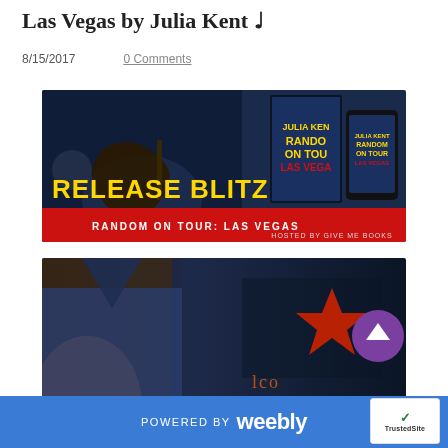Las Vegas by Julia Kent ♩
8/15/2017    0 Comments
[Figure (photo): Release Blitz banner for 'Random on Tour: Las Vegas' by Julia Kent, hosted by Give Me Books. Shows a guitarist on stage with book covers and phone mockup displayed prominently. Yellow text reads RELEASE BLITZ and red banner reads RANDOM ON TOUR: LAS VEGAS.]
[Figure (photo): Promotional photo showing a man's torso in a denim jacket with Las Vegas sign/casino neon lights in background.]
POWERED BY weebly